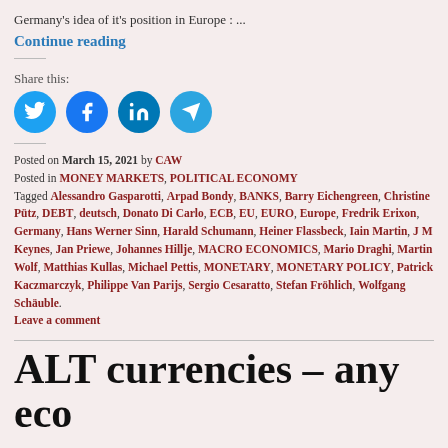Germany's idea of it's position in Europe : ...
Continue reading
Share this:
[Figure (other): Four social media share icons: Twitter (blue), Facebook (blue), LinkedIn (blue), Telegram (blue)]
Posted on March 15, 2021 by CAW
Posted in MONEY MARKETS, POLITICAL ECONOMY
Tagged Alessandro Gasparotti, Arpad Bondy, BANKS, Barry Eichengreen, Christine Pütz, DEBT, deutsch, Donato Di Carlo, ECB, EU, EURO, Europe, Fredrik Erixon, Germany, Hans Werner Sinn, Harald Schumann, Heiner Flassbeck, Iain Martin, J M Keynes, Jan Priewe, Johannes Hillje, MACRO ECONOMICS, Mario Draghi, Martin Wolf, Matthias Kullas, Michael Pettis, MONETARY, MONETARY POLICY, Patrick Kaczmarczyk, Philippe Van Parijs, Sergio Cesaratto, Stefan Fröhlich, Wolfgang Schäuble.
Leave a comment
ALT currencies – any eco